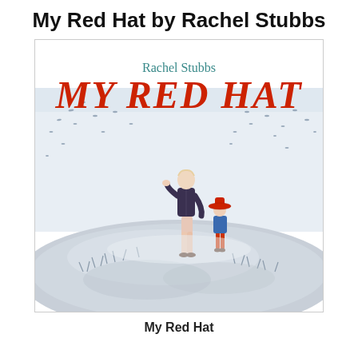My Red Hat by Rachel Stubbs
[Figure (illustration): Book cover of 'My Red Hat' by Rachel Stubbs. Shows 'Rachel Stubbs' in teal text and 'MY RED HAT' in large red serif italic letters at the top. Below is an illustration of an adult figure in a dark jacket and light trousers standing on a hill, looking around, while a small child figure wearing a red wide-brimmed hat and blue outfit stands nearby holding a stick. Small bird-like shapes are scattered in the pale blue-grey sky. The hill is rendered in watercolour style with grey-blue grass tufts.]
My Red Hat